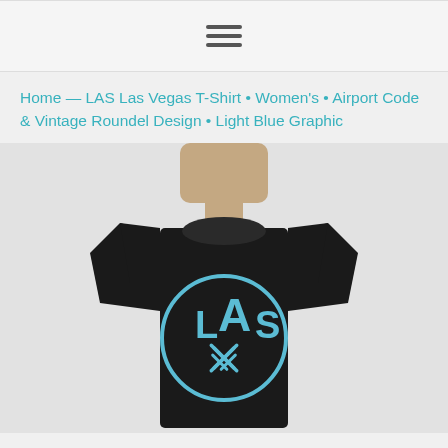hamburger menu icon
Home — LAS Las Vegas T-Shirt • Women's • Airport Code & Vintage Roundel Design • Light Blue Graphic
[Figure (photo): Woman wearing a black t-shirt with a light blue LAS airport code vintage roundel graphic design on the front]